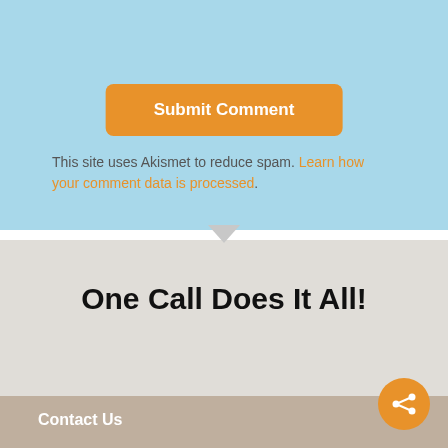Submit Comment
This site uses Akismet to reduce spam. Learn how your comment data is processed.
One Call Does It All!
CLICK TO CALL
Contact Us